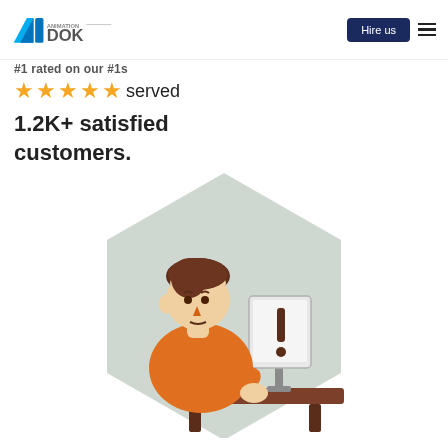Animation DOK — Hire us
#1 rated on our #1s
★★★★★ served 1.2K+ satisfied customers.
[Figure (illustration): Animated illustration of a person in an orange shirt sitting at a desk, looking at a monitor with an exclamation mark, set against a hexagonal light grey background.]